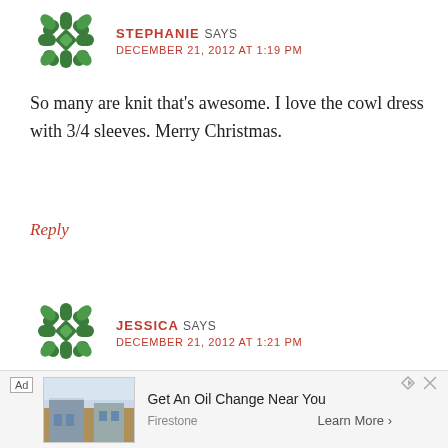[Figure (illustration): Green snowflake/flower avatar icon for user Stephanie]
STEPHANIE SAYS
DECEMBER 21, 2012 AT 1:19 PM
So many are knit that’s awesome. I love the cowl dress with 3/4 sleeves. Merry Christmas.
Reply
[Figure (illustration): Green snowflake/flower avatar icon for user Jessica]
JESSICA SAYS
DECEMBER 21, 2012 AT 1:21 PM
I like the floral ikat brocade. 🙂
Reply
[Figure (screenshot): Ad banner: Get An Oil Change Near You - Firestone, Learn More]